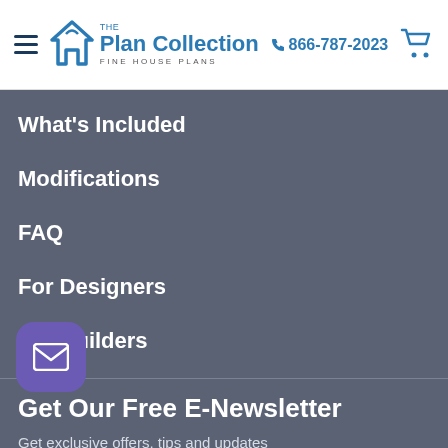The Plan Collection — Fine House Plans | 866-787-2023
What's Included
Modifications
FAQ
For Designers
For Builders
Get Our Free E-Newsletter
Get exclusive offers, tips and updates
Your E-Mail Address
[Figure (logo): TrustedSite badge with checkmark]